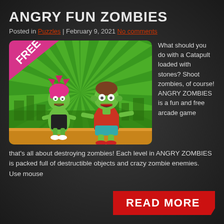ANGRY FUN ZOMBIES
Posted in Puzzles | February 9, 2021 No comments
[Figure (illustration): Game screenshot showing two cartoon zombie characters on a green background with a pink FREE banner in the top-left corner. One zombie has pink hair, the other has brown hair.]
What should you do with a Catapult loaded with stones? Shoot zombies, of course! ANGRY ZOMBIES is a fun and free arcade game that's all about destroying zombies! Each level in ANGRY ZOMBIES is packed full of destructible objects and crazy zombie enemies.
Use mouse
READ MORE